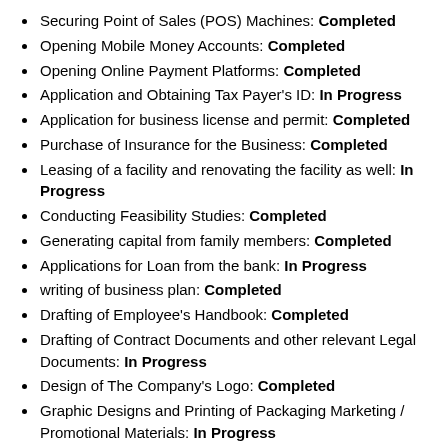Securing Point of Sales (POS) Machines: Completed
Opening Mobile Money Accounts: Completed
Opening Online Payment Platforms: Completed
Application and Obtaining Tax Payer's ID: In Progress
Application for business license and permit: Completed
Purchase of Insurance for the Business: Completed
Leasing of a facility and renovating the facility as well: In Progress
Conducting Feasibility Studies: Completed
Generating capital from family members: Completed
Applications for Loan from the bank: In Progress
writing of business plan: Completed
Drafting of Employee's Handbook: Completed
Drafting of Contract Documents and other relevant Legal Documents: In Progress
Design of The Company's Logo: Completed
Graphic Designs and Printing of Packaging Marketing / Promotional Materials: In Progress
Recruitment of employees: In Progress
Purchase of the Needed furniture, racks, shelves, computers, electronic appliances, office appliances and